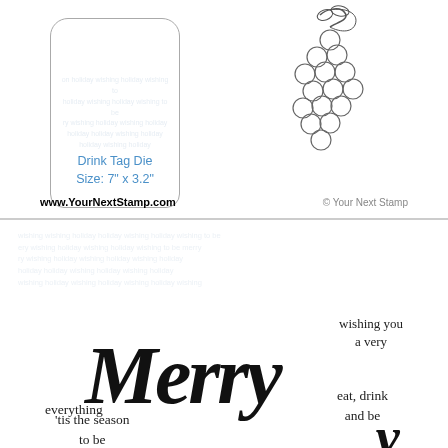[Figure (illustration): Product packaging top panel showing a drink tag die cut shape with watermark text, a grape cluster die cut illustration, product label text 'Drink Tag Die Size: 7" x 3.2"', and website URL www.YourNextStamp.com with copyright notice]
Drink Tag Die
Size: 7" x 3.2"
www.YourNextStamp.com
© Your Next Stamp
[Figure (illustration): Stamp set product panel showing watermark text background and stamp sentiments: 'wishing you a very', 'Merry' in large cursive script, "'tis the season to be", 'everything', 'eat, drink and be']